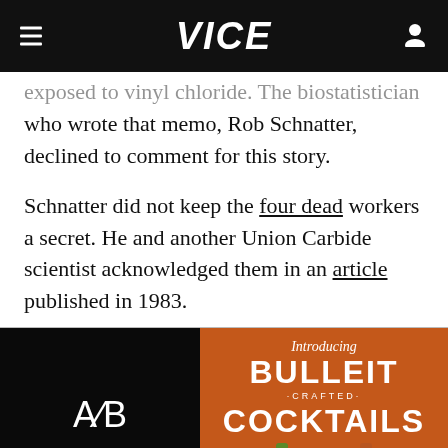VICE
exposed to vinyl chloride. The biostatistician who wrote that memo, Rob Schnatter, declined to comment for this story.
Schnatter did not keep the four dead workers a secret. He and another Union Carbide scientist acknowledged them in an article published in 1983.
[Figure (other): Advertisement: A/B logo on black background (left) and Bulleit Crafted Cocktails advertisement on orange background with bottles (right)]